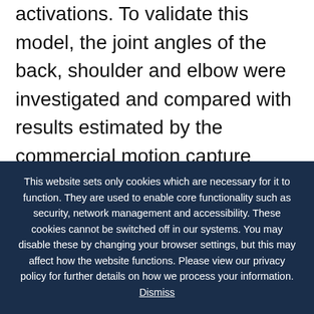activations. To validate this model, the joint angles of the back, shoulder and elbow were investigated and compared with results estimated by the commercial motion capture software. The muscle activations of the longissimus, multifidus, biceps and triceps were evaluated against the measurements collected using surface
This website sets only cookies which are necessary for it to function. They are used to enable core functionality such as security, network management and accessibility. These cookies cannot be switched off in our systems. You may disable these by changing your browser settings, but this may affect how the website functions. Please view our privacy policy for further details on how we process your information. Dismiss